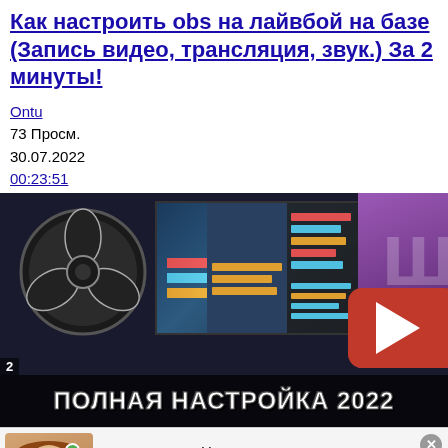Как настроить obs на лайвбой на базе (Запись видео, трансляция, звук.) За 2 минуты!
Ontu
73 Просм.
30.07.2022
00:23:51
[Figure (screenshot): Video thumbnail showing OBS software logo, a game screenshot with settings panel, Twitch and YouTube logos, and text 'ПОЛНАЯ НАСТРОЙКА 2022' at the bottom]
[Figure (infographic): Advertisement banner with a photo of a young woman, name 'Лена, 21' and text about meeting]